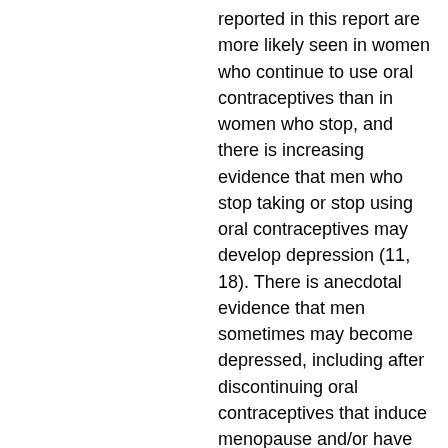reported in this report are more likely seen in women who continue to use oral contraceptives than in women who stop, and there is increasing evidence that men who stop taking or stop using oral contraceptives may develop depression (11, 18). There is anecdotal evidence that men sometimes may become depressed, including after discontinuing oral contraceptives that induce menopause and/or have an adverse effect, or after being diagnosed with prostate cancer (4, 5, 10-12, mk 2866 supplement.) However, most patients with erectile dysfunction, low libido, and decreased sex drive do not continue to use oral contraceptives, mk 2866 buy. There is also no evidence that the risk of depression observed in this report is unique to women and is associated with oral contraceptives. In fact, there are few published data to determine whether use of oral